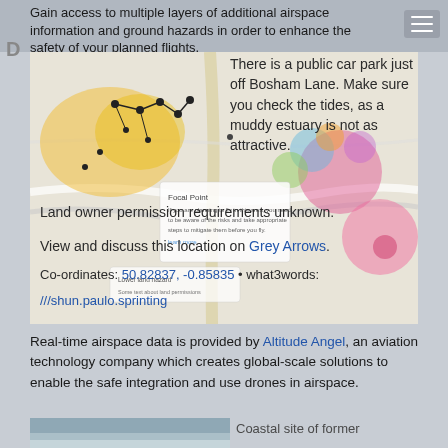Gain access to multiple layers of additional airspace information and ground hazards in order to enhance the safety of your planned flights.
[Figure (map): Drone flight planning map showing airspace layers, hazard zones in yellow and pink/coloured circles, with overlaid text about a location near Bosham Lane including car park info, tides warning, land owner permissions, coordinates and what3words address.]
There is a public car park just off Bosham Lane. Make sure you check the tides, as a muddy estuary is not as attractive.
Land owner permission requirements unknown.
View and discuss this location on Grey Arrows.
Co-ordinates: 50.82837, -0.85835 • what3words: ///shun.paulo.sprinting
Real-time airspace data is provided by Altitude Angel, an aviation technology company which creates global-scale solutions to enable the safe integration and use drones in airspace.
Coastal site of former